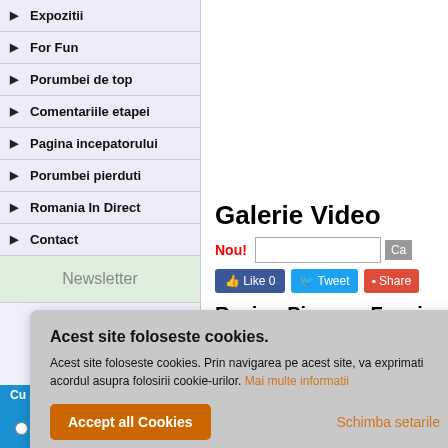► Expozitii
► For Fun
► Porumbei de top
► Comentariile etapei
► Pagina incepatorului
► Porumbei pierduti
► Romania In Direct
► Contact
Newsletter
Galerie Video
Nou!
Racing Pigeons Fancier Interv
Acest site foloseste cookies. Acest site foloseste cookies. Prin navigarea pe acest site, va exprimati acordul asupra folosirii cookie-urilor. Mai multe informatii
Accept all Cookies
Schimba setarile
Cu statut sau porumbar:
Personal